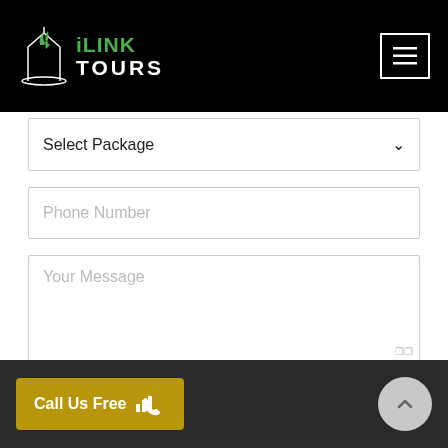[Figure (logo): iLink Tours logo with stylized building/tower icon in white and green text on black background]
Select Package
Phone Number
Your Message
SUBMIT
Call Us Free